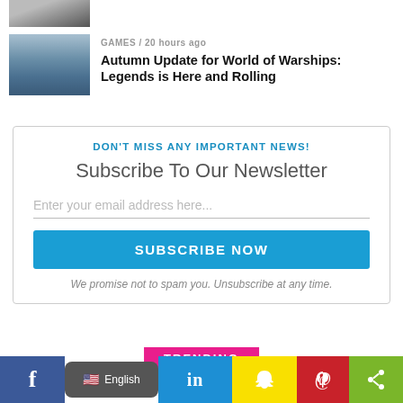[Figure (photo): Partial thumbnail at top, person in suit visible]
GAMES / 20 hours ago
Autumn Update for World of Warships: Legends is Here and Rolling
[Figure (photo): Warship on the sea, naval vessel thumbnail]
DON'T MISS ANY IMPORTANT NEWS!
Subscribe To Our Newsletter
Enter your email address here...
SUBSCRIBE NOW
We promise not to spam you. Unsubscribe at any time.
TRENDING
f English in
[Figure (screenshot): Social sharing bar with Facebook, English language selector, LinkedIn, Snapchat, Pinterest, share icons]